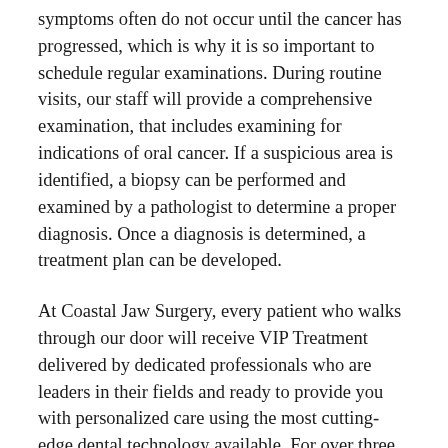symptoms often do not occur until the cancer has progressed, which is why it is so important to schedule regular examinations. During routine visits, our staff will provide a comprehensive examination, that includes examining for indications of oral cancer. If a suspicious area is identified, a biopsy can be performed and examined by a pathologist to determine a proper diagnosis. Once a diagnosis is determined, a treatment plan can be developed.
At Coastal Jaw Surgery, every patient who walks through our door will receive VIP Treatment delivered by dedicated professionals who are leaders in their fields and ready to provide you with personalized care using the most cutting-edge dental technology available. For over three decades, we have proudly provided thousands of patients in the Tampa Bay area with dental implant and oral surgery services, including oral surgery, Same Day Teeth®, and periodontal services. To schedule an appointment, for a biopsy or to diagnose and treat an